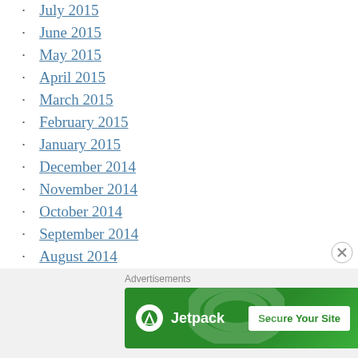July 2015
June 2015
May 2015
April 2015
March 2015
February 2015
January 2015
December 2014
November 2014
October 2014
September 2014
August 2014
July 2014
June 2014
[Figure (screenshot): Jetpack advertisement banner with 'Secure Your Site' button on green background]